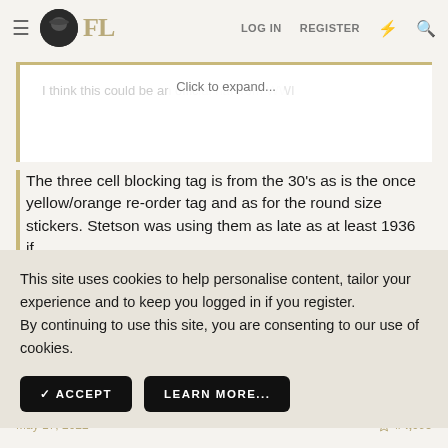FL — LOG IN  REGISTER
I think this could be an offic... Click to expand...
The three cell blocking tag is from the 30's as is the once yellow/orange re-order tag and as for the round size stickers. Stetson was using them as late as at least 1936 if...
This site uses cookies to help personalise content, tailor your experience and to keep you logged in if you register.
By continuing to use this site, you are consenting to our use of cookies.
✓ ACCEPT    LEARN MORE...
👍 Blare, wsmontana and BobHufford
May 17, 2022    #4,095